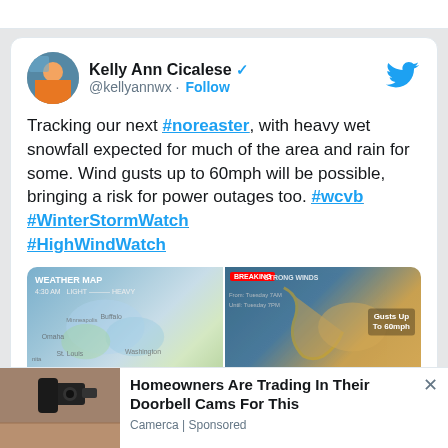[Figure (screenshot): Tweet by Kelly Ann Cicalese (@kellyannwx) with verified badge and Follow button, Twitter bird logo top right. Tweet text about tracking a noreaster with heavy wet snowfall, wind gusts up to 60mph, hashtags #wcvb #WinterStormWatch #HighWindWatch. Two weather map images below: left shows a weather map at 4:30 AM, right shows strong winds map with 'Gusts Up To 60mph' label.]
Tracking our next #noreaster, with heavy wet snowfall expected for much of the area and rain for some. Wind gusts up to 60mph will be possible, bringing a risk for power outages too. #wcvb #WinterStormWatch #HighWindWatch
[Figure (photo): Advertisement at bottom: outdoor security camera on a wall, with text 'Homeowners Are Trading In Their Doorbell Cams For This' by Camerca | Sponsored]